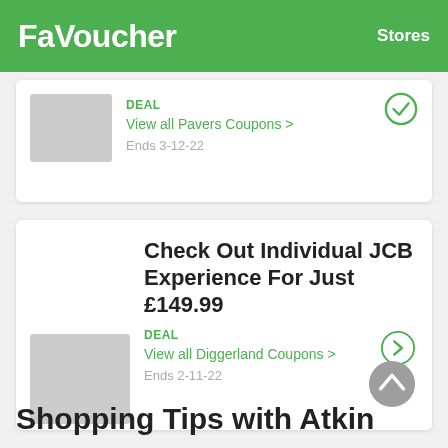FaVoucher   Stores
DEAL
View all Pavers Coupons >
Ends 3-12-22
Check Out Individual JCB Experience For Just £149.99
DEAL
View all Diggerland Coupons >
Ends 2-11-22
Shopping Tips with Atkin